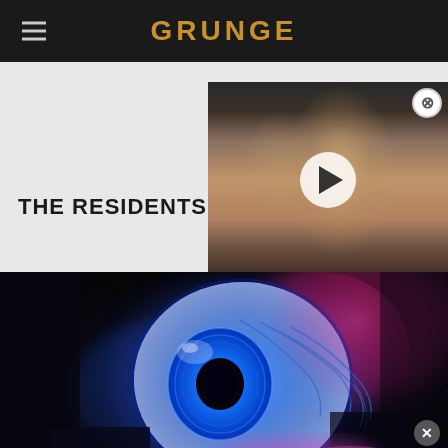GRUNGE
THE RESIDENTS
[Figure (photo): Video thumbnail of a young man with dreadlocks and face tattoos, with a white play button overlay in the center. A close/X button appears in the top right corner.]
[Figure (photo): Close-up photo of a large glowing eyeball prop or sculpture lit with blue and pink/red neon lights against a dark background.]